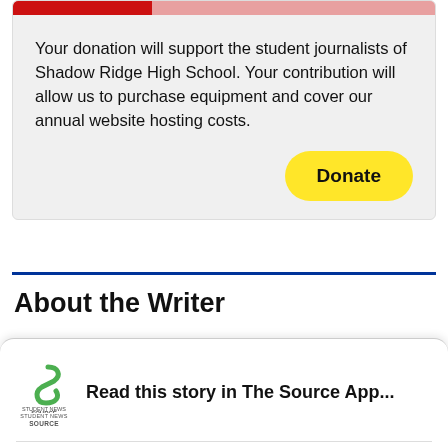Your donation will support the student journalists of Shadow Ridge High School. Your contribution will allow us to purchase equipment and cover our annual website hosting costs.
Donate
About the Writer
Read this story in The Source App...
Open App
Continue in browser